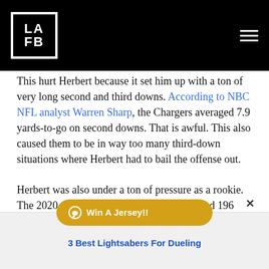LAFB
This hurt Herbert because it set him up with a ton of very long second and third downs. According to NBC NFL analyst Warren Sharp, the Chargers averaged 7.9 yards-to-go on second downs. That is awful. This also caused them to be in way too many third-down situations where Herbert had to bail the offense out.
Herbert was also under a ton of pressure as a rookie. The 2020 Chargers offensive line surrendered 196 pressures a[...] on 28.7% of quarterback dropba[...]. This combination ranked [...] respec[...]
[Figure (other): Win A Jersey!! chat widget button overlay with close X button]
3 Best Lightsabers For Dueling